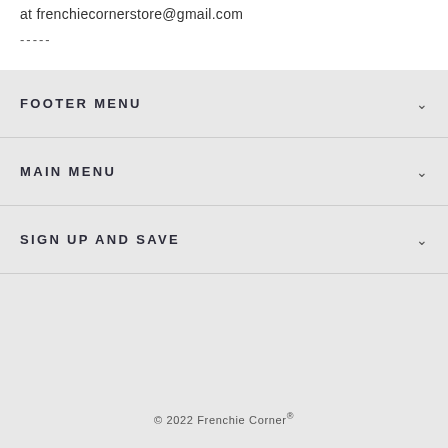at frenchiecornerstore@gmail.com
-----
FOOTER MENU
MAIN MENU
SIGN UP AND SAVE
© 2022 Frenchie Corner®